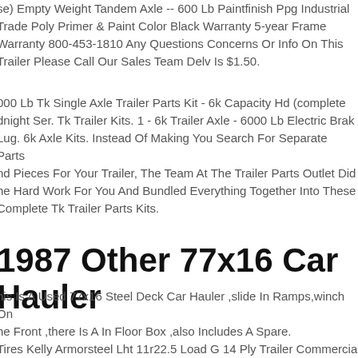se) Empty Weight Tandem Axle -- 600 Lb Paintfinish Ppg Industrial Trade Poly Primer & Paint Color Black Warranty 5-year Frame Warranty 800-453-1810 Any Questions Concerns Or Info On This Trailer Please Call Our Sales Team Delv Is $1.50.
000 Lb Tk Single Axle Trailer Parts Kit - 6k Capacity Hd (complete dnight Ser. Tk Trailer Kits. 1 - 6k Trailer Axle - 6000 Lb Electric Brak Lug. 6k Axle Kits. Instead Of Making You Search For Separate Parts nd Pieces For Your Trailer, The Team At The Trailer Parts Outlet Did he Hard Work For You And Bundled Everything Together Into These Complete Tk Trailer Parts Kits.
1987 Other 77x16 Car Hauler
his Is A Used 77x16 Steel Deck Car Hauler ,slide In Ramps,winch On he Front ,there Is A In Floor Box ,also Includes A Spare.
Tires Kelly Armorsteel Lht 11r22.5 Load G 14 Ply Trailer Commercia